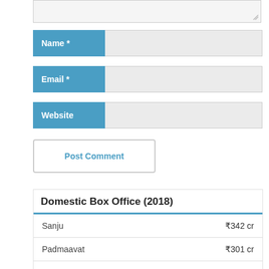[Figure (screenshot): Textarea input field stub at top of page]
| Name * |  |
| --- | --- |
| Email * |  |
| --- | --- |
| Website |  |
| --- | --- |
Post Comment
| Domestic Box Office (2018) |  |
| --- | --- |
| Sanju | ₹342 cr |
| Padmaavat | ₹301 cr |
| Avengers: Infinity War | ₹223 cr |